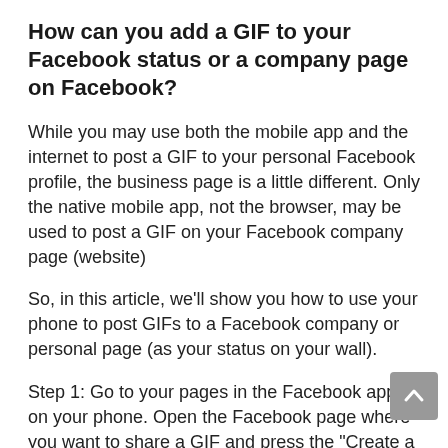How can you add a GIF to your Facebook status or a company page on Facebook?
While you may use both the mobile app and the internet to post a GIF to your personal Facebook profile, the business page is a little different. Only the native mobile app, not the browser, may be used to post a GIF on your Facebook company page (website)
So, in this article, we’ll show you how to use your phone to post GIFs to a Facebook company or personal page (as your status on your wall).
Step 1: Go to your pages in the Facebook app on your phone. Open the Facebook page where you want to share a GIF and press the “Create a post” option.